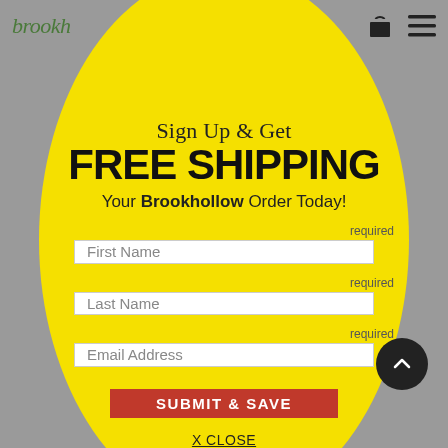brookh
Sign Up & Get FREE SHIPPING Your Brookhollow Order Today!
required
First Name
required
Last Name
required
Email Address
SUBMIT & SAVE
X CLOSE